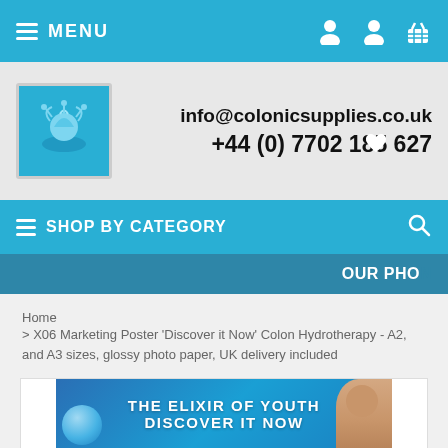≡ MENU
info@colonicsupplies.co.uk
+44 (0) 7702 185 627
≡ SHOP BY CATEGORY
OUR PHO
Home
 > X06 Marketing Poster 'Discover it Now' Colon Hydrotherapy - A2, and A3 sizes, glossy photo paper, UK delivery included
[Figure (photo): Marketing poster showing 'THE ELIXIR OF YOUTH DISCOVER IT NOW' text on blue background with a person's face and a water bubble/sphere]